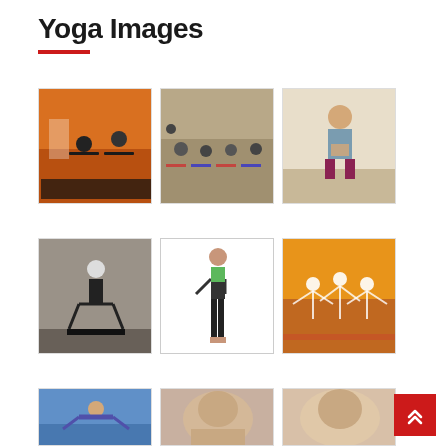Yoga Images
[Figure (photo): Grid gallery of yoga images arranged in 3 rows of 3 photos showing various yoga poses and classes]
[Figure (other): Red scroll-to-top button with double chevron arrow in bottom right corner]